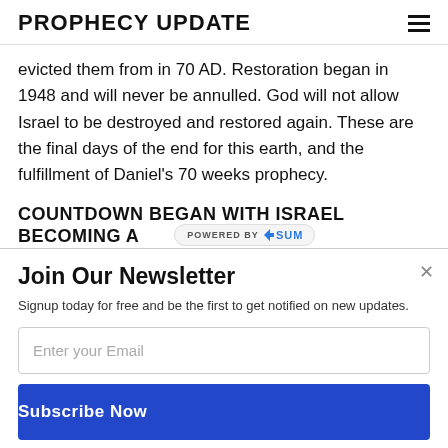PROPHECY UPDATE
evicted them from in 70 AD. Restoration began in 1948 and will never be annulled. God will not allow Israel to be destroyed and restored again. These are the final days of the end for this earth, and the fulfillment of Daniel's 70 weeks prophecy.
COUNTDOWN BEGAN WITH ISRAEL BECOMING A NATION
Join Our Newsletter
Signup today for free and be the first to get notified on new updates.
Enter your Email
Subscribe Now